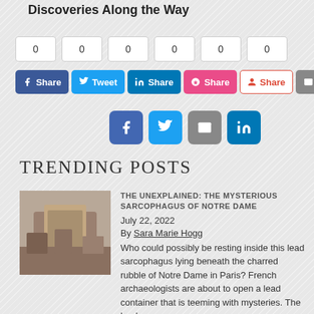Discoveries Along the Way
[Figure (infographic): Social share counter row showing 6 boxes each with count 0, followed by 6 share buttons: Facebook Share, Twitter Tweet, LinkedIn Share, StumbleUpon Share, Google+ Share, Email]
[Figure (infographic): Four icon buttons: Facebook (blue), Twitter (light blue), Email (gray), LinkedIn (dark blue)]
TRENDING POSTS
[Figure (photo): Photo of a stone sarcophagus being excavated]
THE UNEXPLAINED: THE MYSTERIOUS SARCOPHAGUS OF NOTRE DAME
July 22, 2022
By Sara Marie Hogg
Who could possibly be resting inside this lead sarcophagus lying beneath the charred rubble of Notre Dame in Paris?  French archaeologists are about to open a lead container that is teeming with mysteries.  The lead